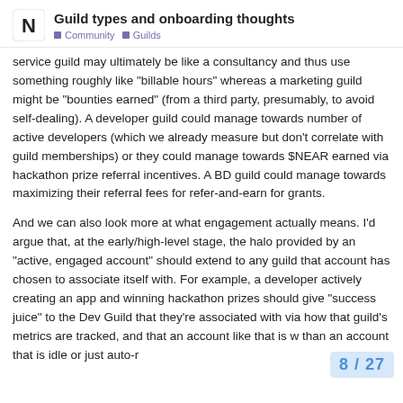Guild types and onboarding thoughts
service guild may ultimately be like a consultancy and thus use something roughly like “billable hours” whereas a marketing guild might be “bounties earned” (from a third party, presumably, to avoid self-dealing). A developer guild could manage towards number of active developers (which we already measure but don’t correlate with guild memberships) or they could manage towards $NEAR earned via hackathon prize referral incentives. A BD guild could manage towards maximizing their referral fees for refer-and-earn for grants.
And we can also look more at what engagement actually means. I’d argue that, at the early/high-level stage, the halo provided by an “active, engaged account” should extend to any guild that account has chosen to associate itself with. For example, a developer actively creating an app and winning hackathon prizes should give “success juice” to the Dev Guild that they’re associated with via how that guild’s metrics are tracked, and that an account like that is w
8 / 27